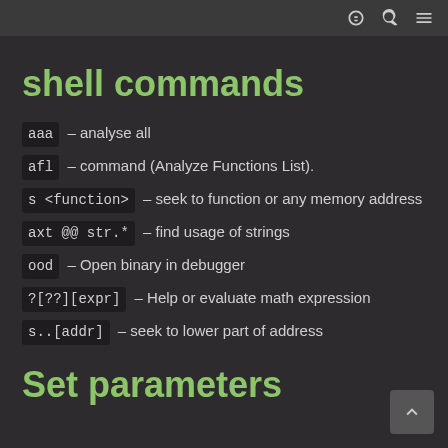shell commands
aaa – analyse all
afl – command (Analyze Functions List).
s <function> – seek to function or any memory address
axt @@ str.* – find usage of strings
ood – Open binary in debugger
?[??][expr] – Help or evaluate math expression
s..[addr] – seek to lower part of address
Set parameters